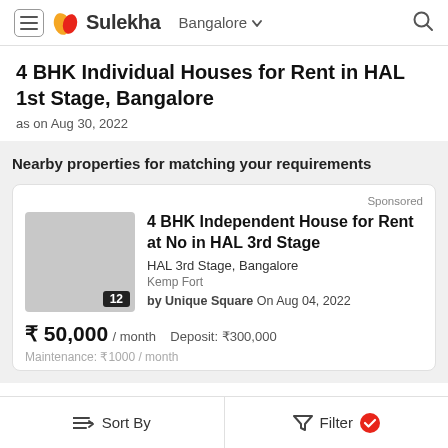Sulekha Bangalore
4 BHK Individual Houses for Rent in HAL 1st Stage, Bangalore
as on Aug 30, 2022
Nearby properties for matching your requirements
Sponsored
4 BHK Independent House for Rent at No in HAL 3rd Stage
HAL 3rd Stage, Bangalore
Kemp Fort
by Unique Square On Aug 04, 2022
₹ 50,000 / month   Deposit: ₹300,000
Maintenance: ₹1000 / month
Sort By   Filter